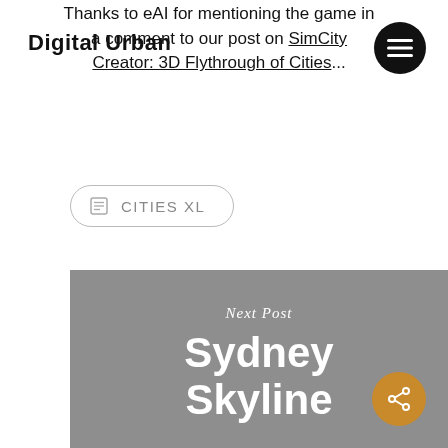Digital Urban
Thanks to eAI for mentioning the game in a comment to our post on SimCity Creator: 3D Flythrough of Cities...
CITIES XL
Next Post
Sydney Skyline